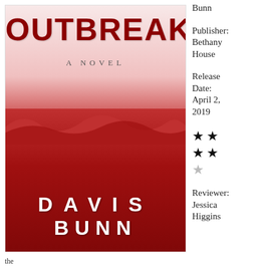[Figure (illustration): Book cover for 'Outbreak: A Novel' by Davis Bunn. Red and white design showing blood-red water with the title 'OUTBREAK' in large dark red letters at the top, subtitle 'A NOVEL' below, and author name 'DAVIS BUNN' in white letters across the bottom half which shows red churning water.]
Bunn
Publisher: Bethany House
Release Date: April 2, 2019
[Figure (other): Star rating: 4 out of 5 stars (two rows of two filled black stars, then one grey/empty star)]
Reviewer: Jessica Higgins
the bottom visible text fragment